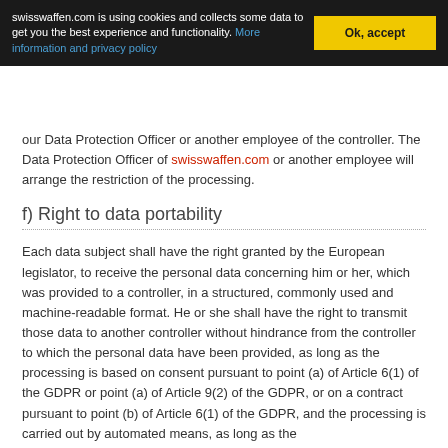swisswaffen.com is using cookies and collects some data to get you the best experience and functionality. More information and privacy policy | Ok, accept
our Data Protection Officer or another employee of the controller. The Data Protection Officer of swisswaffen.com or another employee will arrange the restriction of the processing.
f) Right to data portability
Each data subject shall have the right granted by the European legislator, to receive the personal data concerning him or her, which was provided to a controller, in a structured, commonly used and machine-readable format. He or she shall have the right to transmit those data to another controller without hindrance from the controller to which the personal data have been provided, as long as the processing is based on consent pursuant to point (a) of Article 6(1) of the GDPR or point (a) of Article 9(2) of the GDPR, or on a contract pursuant to point (b) of Article 6(1) of the GDPR, and the processing is carried out by automated means, as long as the